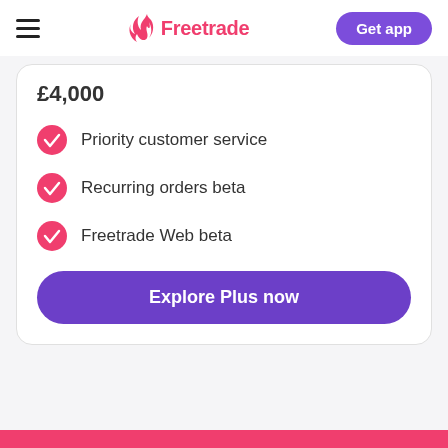Freetrade — Get app
£4,000
Priority customer service
Recurring orders beta
Freetrade Web beta
Explore Plus now